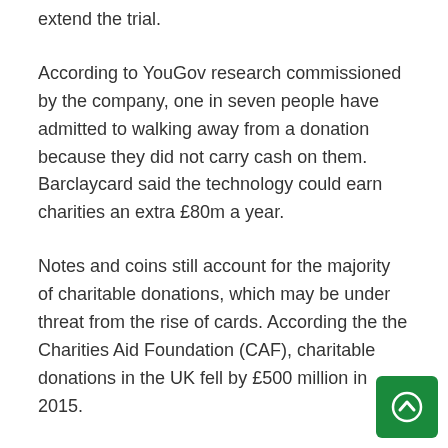extend the trial.
According to YouGov research commissioned by the company, one in seven people have admitted to walking away from a donation because they did not carry cash on them. Barclaycard said the technology could earn charities an extra £80m a year.
Notes and coins still account for the majority of charitable donations, which may be under threat from the rise of cards. According the the Charities Aid Foundation (CAF), charitable donations in the UK fell by £500 million in 2015.
However, cash now accounts for less than half of all transactions in the UK and is expected to fall to a quarter by 2025 amid the rise of mobile payments and contactless cards, as well as a decline in bank branches and cash machines.